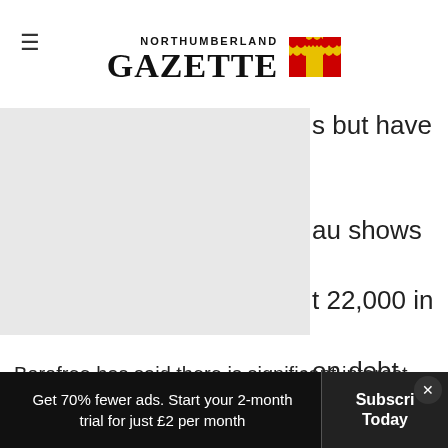Northumberland Gazette
[Figure (photo): Partial image, mostly obscured, gray placeholder rectangle on left side of page]
s but have
au shows
t 22,000 in
on debt.
Borofree has said there is significant interest from employers interested in signing up to offer the app to their staff.
Get 70% fewer ads. Start your 2-month trial for just £2 per month  Subscribe Today